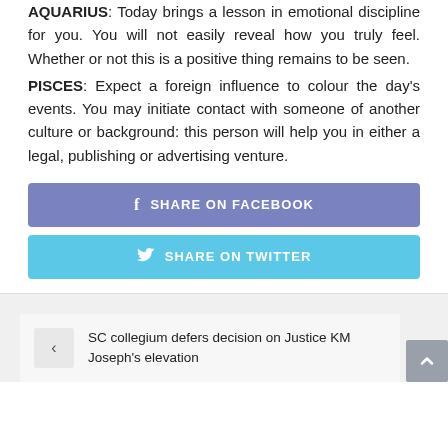AQUARIUS: Today brings a lesson in emotional discipline for you. You will not easily reveal how you truly feel. Whether or not this is a positive thing remains to be seen.
PISCES: Expect a foreign influence to colour the day's events. You may initiate contact with someone of another culture or background: this person will help you in either a legal, publishing or advertising venture.
[Figure (other): Share on Facebook button (purple/blue rounded rectangle with Facebook icon and text)]
[Figure (other): Share on Twitter button (light blue rounded rectangle with Twitter bird icon and text)]
SC collegium defers decision on Justice KM Joseph's elevation